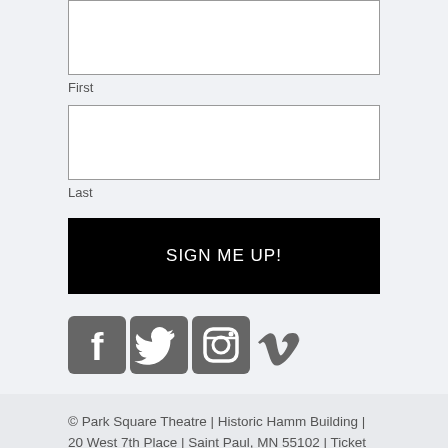First
Last
SIGN ME UP!
[Figure (illustration): Social media icons: Facebook, Twitter, Instagram, Vimeo]
© Park Square Theatre | Historic Hamm Building | 20 West 7th Place | Saint Paul, MN 55102 | Ticket Office 651.291.7005 | Toll-free 877.291.7001 | Fax 651.291.9180